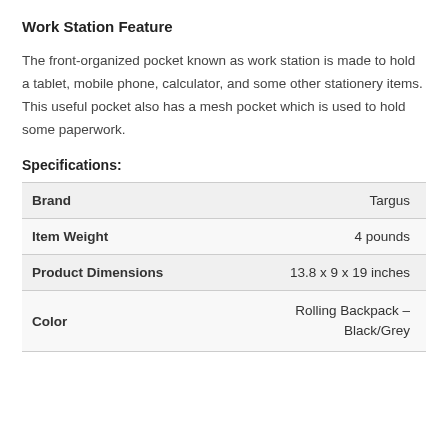Work Station Feature
The front-organized pocket known as work station is made to hold a tablet, mobile phone, calculator, and some other stationery items. This useful pocket also has a mesh pocket which is used to hold some paperwork.
Specifications:
|  |  |
| --- | --- |
| Brand | Targus |
| Item Weight | 4 pounds |
| Product Dimensions | 13.8 x 9 x 19 inches |
| Color | Rolling Backpack – Black/Grey |